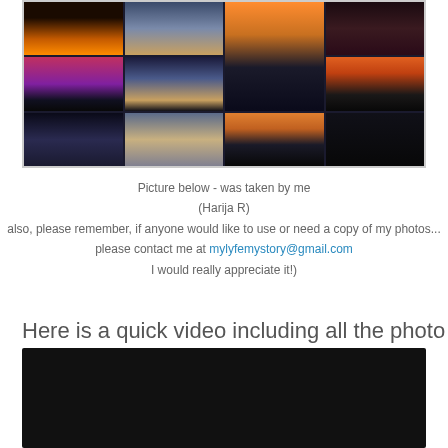[Figure (photo): Photo collage of sunset and sky photographs arranged in a grid]
Picture below - was taken by me
(Harija R)
also, please remember, if anyone would like to use or need a copy of my photos...
please contact me at mylyfemystory@gmail.com
I would really appreciate it!)
Here is a quick video including all the photo shoots:
[Figure (screenshot): Dark video player embed area]